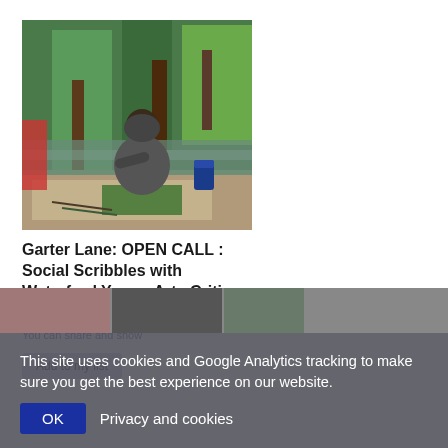[Figure (photo): Person sitting on floor painting a large mural/artwork on paper showing green forest scene]
Garter Lane: OPEN CALL : Social Scribbles with Waterford Young Arts Critics
Call to exhibit • Kids • Teens • Visual • You can share and show
Add to my list
This site uses cookies and Google Analytics tracking to make sure you get the best experience on our website.
OK  Privacy and cookies